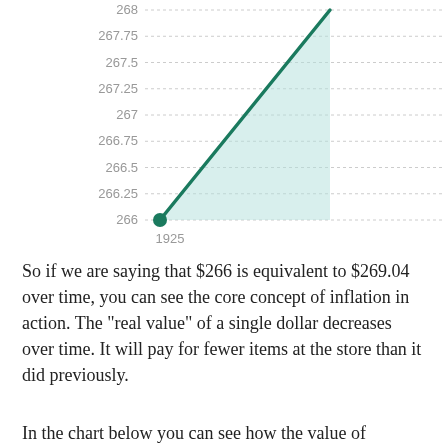[Figure (continuous-plot): Line chart with shaded area showing a rising trend from 266 in 1925 upward, with y-axis values from 266 to 268 and x-axis starting at 1925. The line is dark green with a light teal shaded area beneath it.]
So if we are saying that $266 is equivalent to $269.04 over time, you can see the core concept of inflation in action. The "real value" of a single dollar decreases over time. It will pay for fewer items at the store than it did previously.
In the chart below you can see how the value of